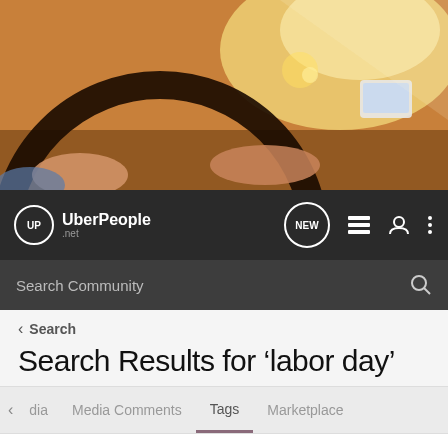[Figure (photo): Hero image of person's hands on a car steering wheel, warm golden sunlight through windshield, GPS device visible on dashboard]
UberPeople.net — navigation bar with NEW badge, list icon, user icon, menu icon, and Search Community search bar
< Search
Search Results for ‘labor day’
< dia   Media Comments   Tags   Marketplace
Search Tags
✕ labor day   [Search button]